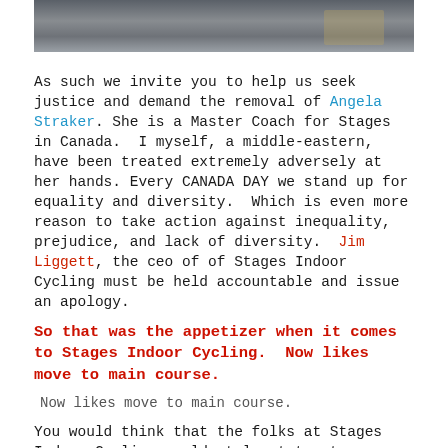[Figure (photo): Top portion of a photograph showing what appears to be a building interior with gray/metal surfaces, partially cropped at the top of the page.]
As such we invite you to help us seek justice and demand the removal of Angela Straker. She is a Master Coach for Stages in Canada.  I myself, a middle-eastern, have been treated extremely adversely at her hands. Every CANADA DAY we stand up for equality and diversity.  Which is even more reason to take action against inequality, prejudice, and lack of diversity.  Jim Liggett, the ceo of of Stages Indoor Cycling must be held accountable and issue an apology.
So that was the appetizer when it comes to Stages Indoor Cycling.  Now likes move to main course.
Now likes move to main course.
You would think that the folks at Stages Indoor Cycling would at least try to appear professional and respectful.  Even more when